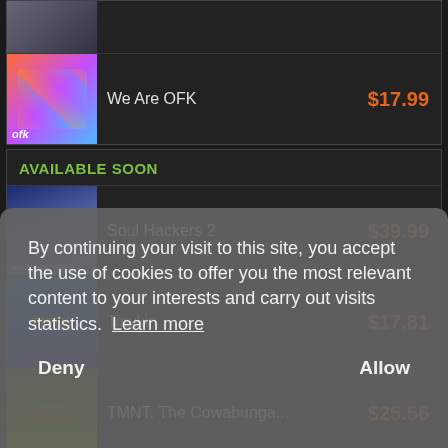Thymesia — $10.37 (partial, cropped at top)
We Are OFK — $17.99
AVAILABLE SOON
Soul Hackers 2 — $39.99
Tinykin — $17.81
TMNT: The Cowabunga... — $25.56
(partial) — $25.30
(partial) — $32.60
(partial) — $35.87
(partial) — $31.99
(partial) — $40.36
Train Sim World 3 — $41.22
By continuing your visit to this site, you accept the use of cookies to offer you the most relevant content to your interests and carry out visits statistics. Learn more
Deny   Allow